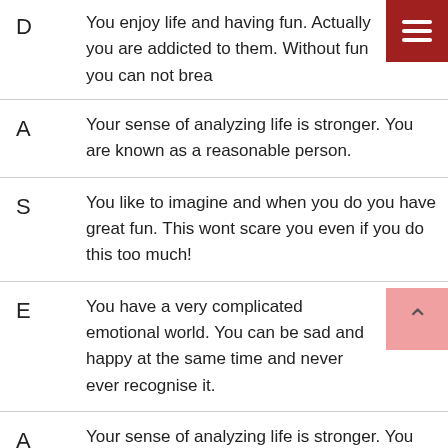D — You enjoy life and having fun. Actually you are addicted to them. Without fun you can not breath
A — Your sense of analyzing life is stronger. You are known as a reasonable person.
S — You like to imagine and when you do you have great fun. This wont scare you even if you do this too much!
E — You have a very complicated emotional world. You can be sad and happy at the same time and never ever recognise it.
A — Your sense of analyzing life is stronger. You are known as a reasonable person.
You have a great common sense and a higher